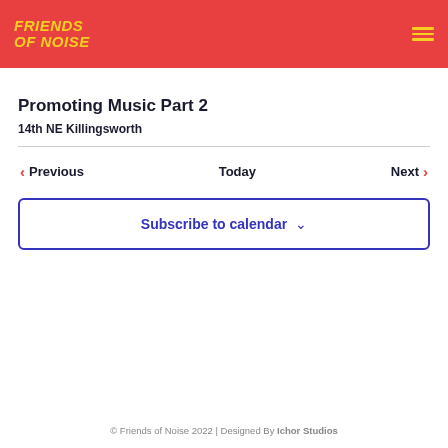Friends of Noise
Promoting Music Part 2
14th NE Killingsworth
Previous | Today | Next
Subscribe to calendar
© Friends of Noise 2022 | Designed By Ichor Studios